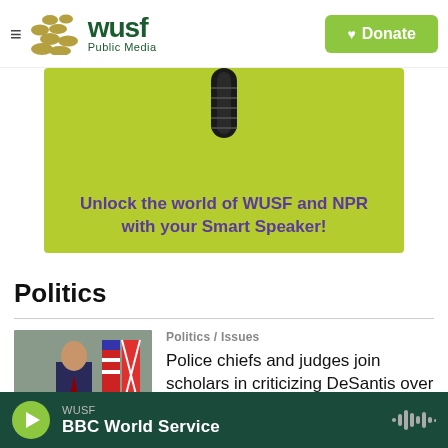[Figure (logo): WUSF Public Media logo with decorative dots and hamburger menu icon]
[Figure (other): Green banner advertisement showing a microphone and text: Unlock the world of WUSF and NPR with your Smart Speaker!]
Politics
[Figure (photo): Photo of a politician at podium with American and Florida flags; ELECTION INTEGRITY badge overlay]
Politics / Issues
Police chiefs and judges join scholars in criticizing DeSantis over Warren suspension
[Figure (other): Audio player bar: WUSF BBC World Service playing; green play button; waveform icon]